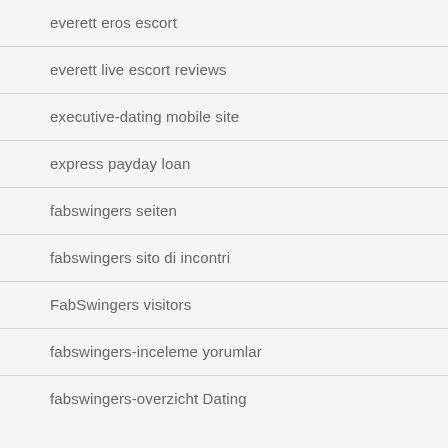everett eros escort
everett live escort reviews
executive-dating mobile site
express payday loan
fabswingers seiten
fabswingers sito di incontri
FabSwingers visitors
fabswingers-inceleme yorumlar
fabswingers-overzicht Dating